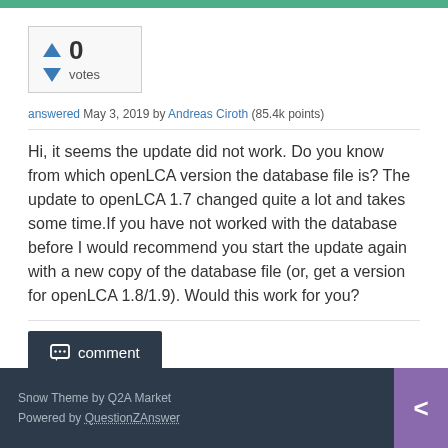[Figure (other): Vote widget showing 0 votes with up and down arrow triangles]
answered May 3, 2019 by Andreas Ciroth (85.4k points)
Hi, it seems the update did not work. Do you know from which openLCA version the database file is? The update to openLCA 1.7 changed quite a lot and takes some time.If you have not worked with the database before I would recommend you start the update again with a new copy of the database file (or, get a version for openLCA 1.8/1.9). Would this work for you?
Snow Theme by Q2A Market
Powered by QuestionZAnswer